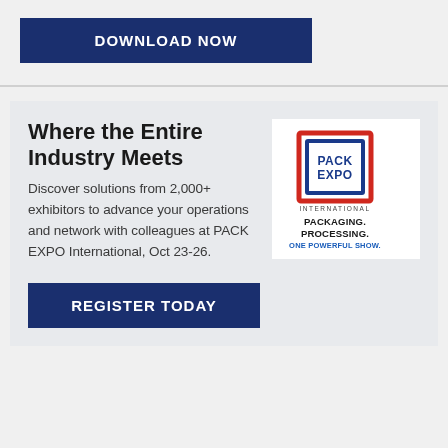DOWNLOAD NOW
Where the Entire Industry Meets
Discover solutions from 2,000+ exhibitors to advance your operations and network with colleagues at PACK EXPO International, Oct 23-26.
[Figure (logo): PACK EXPO International logo with text PACKAGING. PROCESSING. ONE POWERFUL SHOW.]
REGISTER TODAY